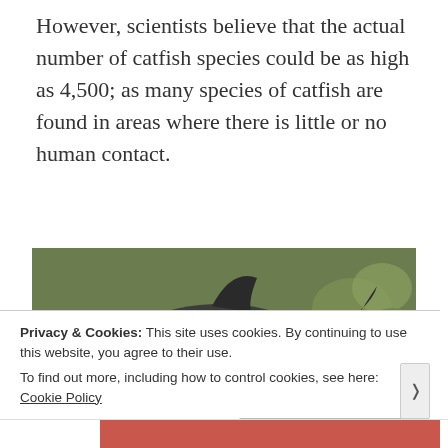However, scientists believe that the actual number of catfish species could be as high as 4,500; as many species of catfish are found in areas where there is little or no human contact.
[Figure (photo): Underwater photograph of a catfish facing forward, resting on a rocky/pebbled riverbed with green vegetation in background. The fish is dark/olive colored with visible barbels (whiskers) extending from its mouth.]
Privacy & Cookies: This site uses cookies. By continuing to use this website, you agree to their use. To find out more, including how to control cookies, see here: Cookie Policy
Close and accept